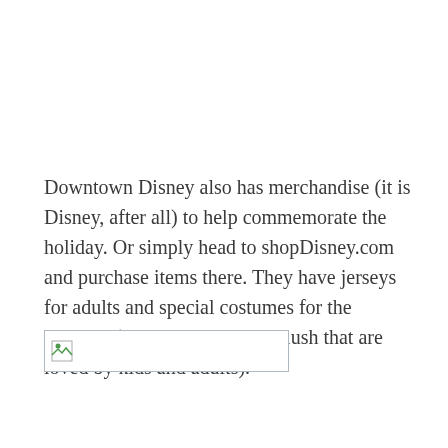Downtown Disney also has merchandise (it is Disney, after all) to help commemorate the holiday. Or simply head to shopDisney.com and purchase items there. They have jerseys for adults and special costumes for the nuiMOs (the small, posable, plush that are loved by kids and adults).
[Figure (photo): Broken/unloaded image placeholder with a small image icon in the top-left corner, displayed as a rectangular box with a border.]